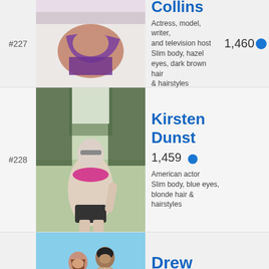#227
[Figure (photo): Woman in purple bikini lying down]
Collins
1,460
Actress, model, writer, and television host
Slim body, hazel eyes, dark brown hair & hairstyles
#228
[Figure (photo): Woman in pink and black bikini at a beach with trees in background]
Kirsten Dunst
1,459
American actor
Slim body, blue eyes, blonde hair & hairstyles
[Figure (photo): Man and woman at the beach]
Drew Barrymore